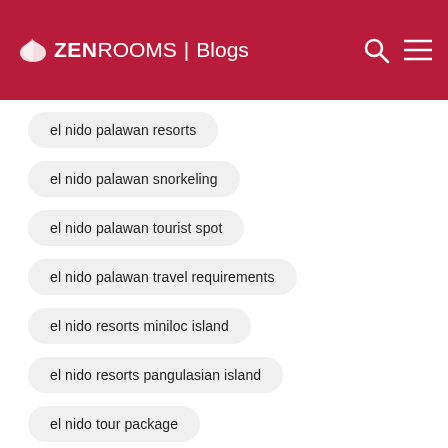ZEN ROOMS | Blogs
el nido palawan resorts
el nido palawan snorkeling
el nido palawan tourist spot
el nido palawan travel requirements
el nido resorts miniloc island
el nido resorts pangulasian island
el nido tour package
el nido tourist requirements
el nido travel requirements